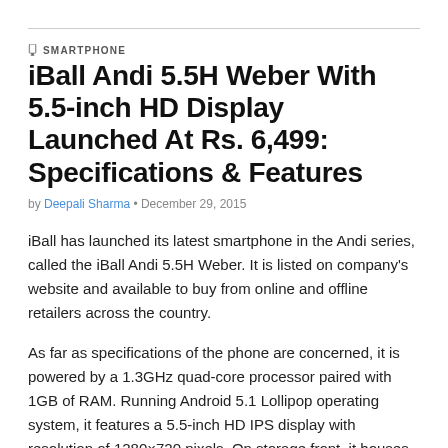SMARTPHONE
iBall Andi 5.5H Weber With 5.5-inch HD Display Launched At Rs. 6,499: Specifications & Features
by Deepali Sharma • December 29, 2015
iBall has launched its latest smartphone in the Andi series, called the iBall Andi 5.5H Weber. It is listed on company's website and available to buy from online and offline retailers across the country.
As far as specifications of the phone are concerned, it is powered by a 1.3GHz quad-core processor paired with 1GB of RAM. Running Android 5.1 Lollipop operating system, it features a 5.5-inch HD IPS display with resolution of 1280×720 pixels. On storage front, it houses 8GB of internal memory which can be expanded up to 32GB using microSD card.